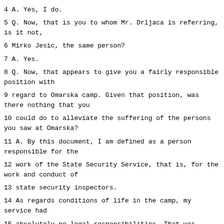4 A. Yes, I do.
5 Q. Now, that is you to whom Mr. Drljaca is referring, is it not,
6 Mirko Jesic, the same person?
7 A. Yes.
8 Q. Now, that appears to give you a fairly responsible position with
9 regard to Omarska camp. Given that position, was there nothing that you
10 could do to alleviate the suffering of the persons you saw at Omarska?
11 A. By this document, I am defined as a person responsible for the
12 work of the State Security Service, that is, for the work and conduct of
13 state security inspectors.
14 As regards conditions of life in the camp, my service had
15 absolutely no legal responsibilities. That was entirely within the field